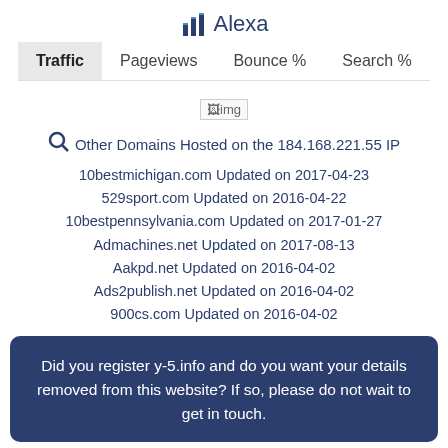Alexa
Traffic | Pageviews | Bounce % | Search %
[Figure (other): Broken image placeholder labeled 'img']
Other Domains Hosted on the 184.168.221.55 IP
10bestmichigan.com Updated on 2017-04-23
529sport.com Updated on 2016-04-22
10bestpennsylvania.com Updated on 2017-01-27
Admachines.net Updated on 2017-08-13
Aakpd.net Updated on 2016-04-02
Ads2publish.net Updated on 2016-04-02
900cs.com Updated on 2016-04-02
Did you register y-5.info and do you want your details removed from this website? If so, please do not wait to get in touch.